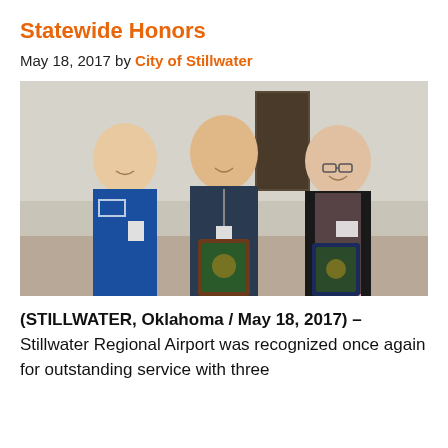Statewide Honors
May 18, 2017 by City of Stillwater
[Figure (photo): Three men standing together in an airport terminal. The man on the left wears a blue TSA uniform with badge and ID. The man in the center wears a dark polo shirt with a lanyard and holds a wooden award plaque. The man on the right wears a black vest over a pink shirt and holds a second award plaque. They are smiling at the camera.]
(STILLWATER, Oklahoma / May 18, 2017) – Stillwater Regional Airport was recognized once again for outstanding service with three